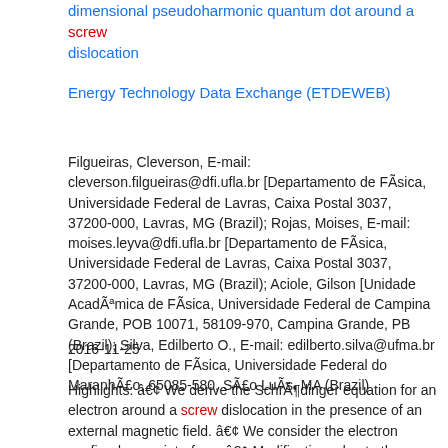dimensional pseudoharmonic quantum dot around a screw dislocation
Energy Technology Data Exchange (ETDEWEB)
Filgueiras, Cleverson, E-mail: cleverson.filgueiras@dfi.ufla.br [Departamento de FÃsica, Universidade Federal de Lavras, Caixa Postal 3037, 37200-000, Lavras, MG (Brazil); Rojas, Moises, E-mail: moises.leyva@dfi.ufla.br [Departamento de FÃsica, Universidade Federal de Lavras, Caixa Postal 3037, 37200-000, Lavras, MG (Brazil); Aciole, Gilson [Unidade AcadÃªmica de FÃsica, Universidade Federal de Campina Grande, POB 10071, 58109-970, Campina Grande, PB (Brazil); Silva, Edilberto O., E-mail: edilberto.silva@ufma.br [Departamento de FÃsica, Universidade Federal do MaranhÃ£o, 65085-580, SÃ£o LuÃs, MA (Brazil)
2016-11-25
Highlights: â€¢ We derive the SchrÃ¶dinger equation for an electron around a screw dislocation in the presence of an external magnetic field. â€¢ We consider the electron confined on an interface. â€¢ Modifications due to the screw dislocation on the light interband absorption coefficient and absorption